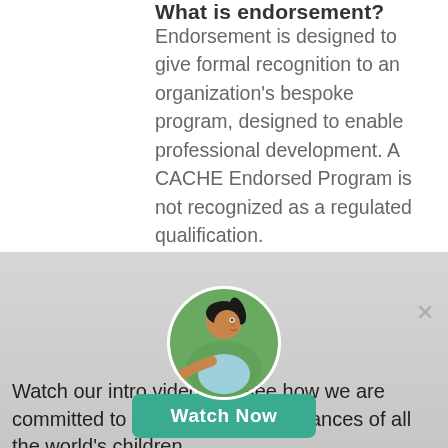What is endorsement?
Endorsement is designed to give formal recognition to an organization's bespoke program, designed to enable professional development. A CACHE Endorsed Program is not recognized as a regulated qualification.
Disclaimer: CACHE is a trading name
[Figure (photo): Circular photo of a young child with a ponytail looking upward, on a green background]
Watch our intro video and see how we are committed to improving the life chances of all the world's children.
Watch Now